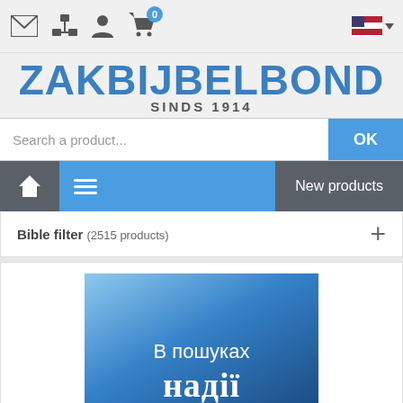[Figure (screenshot): Top navigation bar with icons: envelope, org-chart, person, shopping cart with badge 0, and US flag language selector]
ZAKBIJBELBOND SINDS 1914
Search a product...
[Figure (screenshot): Navigation bar with home icon, hamburger menu on blue background, and New products button on gray background]
Bible filter (2515 products) +
[Figure (illustration): Blue gradient background with Ukrainian text 'В пошуках надії' (In search of hope)]